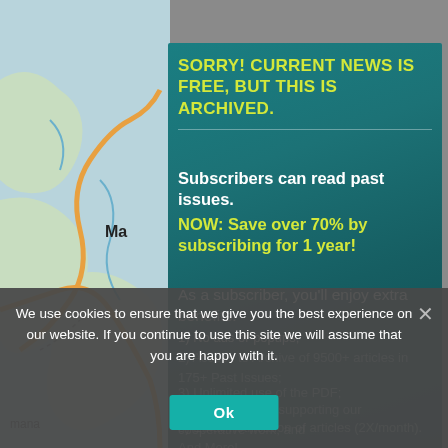[Figure (screenshot): Background map screenshot partially visible on left side]
SORRY! CURRENT NEWS IS FREE, BUT THIS IS ARCHIVED.
Subscribers can read past issues.
NOW: Save over 70% by subscribing for 1 year!
As a subscriber, you'll enjoy extra benefits:
1) No ads or popups;
2) Access to Archive of 9500+ articles in 175+ Past Issues;
3) Unlimited use of the PDF;
4) Satisfaction of supporting our cooperative work; and
5) Email notification of articles (2X/month). And More!
We use cookies to ensure that we give you the best experience on our website. If you continue to use this site we will assume that you are happy with it.